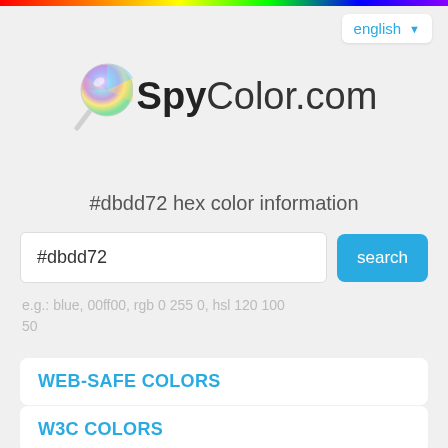rainbow bar decoration
english ▼
SpyColor.com
#dbdd72 hex color information
#dbdd72
search
e.g.: blue, 00ff00, rgb 0 255 0, hsl 120 100 50
WEB-SAFE COLORS
W3C COLORS
COLOR INDEX
#dbdd72 basic color information
In the RGB